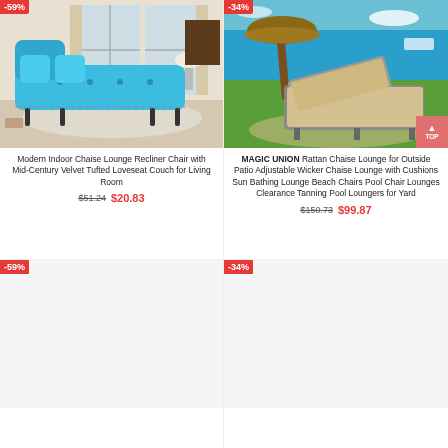[Figure (photo): Blue velvet chaise lounge recliner chair in a modern living room setting]
[Figure (photo): Beige rattan outdoor chaise lounge chair on grass near beach with palm tree umbrella]
Modern Indoor Chaise Lounge Recliner Chair with Mid-Century Velvet Tufted Loveseat Couch for Living Room
$51.24 $20.83
MAGIC UNION Rattan Chaise Lounge for Outside Patio Adjustable Wicker Chaise Lounge with Cushions Sun Bathing Lounge Beach Chairs Pool Chair Lounges Clearance Tanning Pool Loungers for Yard
$150.73 $99.87
[Figure (photo): Partially visible product image (bottom left), with -59% badge]
[Figure (photo): Partially visible product image (bottom right), with -34% badge]